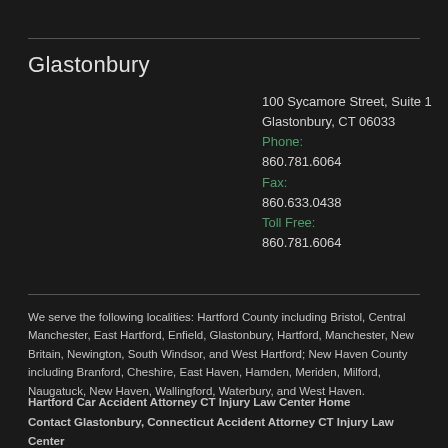Glastonbury
100 Sycamore Street, Suite 1
Glastonbury, CT 06033
Phone:
860.781.6064
Fax:
860.633.0438
Toll Free:
860.781.6064
We serve the following localities: Hartford County including Bristol, Central Manchester, East Hartford, Enfield, Glastonbury, Hartford, Manchester, New Britain, Newington, South Windsor, and West Hartford; New Haven County including Branford, Cheshire, East Haven, Hamden, Meriden, Milford, Naugatuck, New Haven, Wallingford, Waterbury, and West Haven.
Hartford Car Accident Attorney CT Injury Law Center Home
Contact Glastonbury, Connecticut Accident Attorney CT Injury Law Center